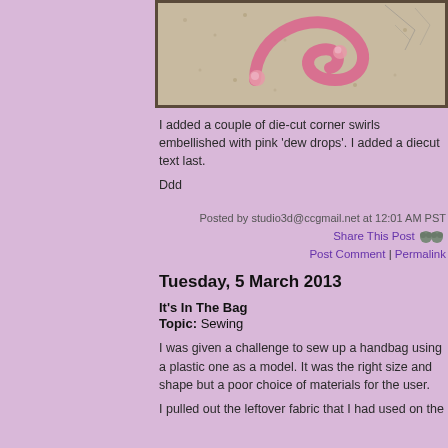[Figure (photo): Close-up photo of a die-cut corner swirl craft embellishment with pink dew drops on a beige/cream textured background, framed in dark wood.]
I added a couple of die-cut corner swirls embellished with pink 'dew drops'. I added a diecut text last.
Ddd
Posted by studio3d@ccgmail.net at 12:01 AM PST
Share This Post
Post Comment | Permalink
Tuesday, 5 March 2013
It's In The Bag
Topic: Sewing
I was given a challenge to sew up a handbag using a plastic one as a model. It was the right size and shape but a poor choice of materials for the user.
I pulled out the leftover fabric that I had used on the